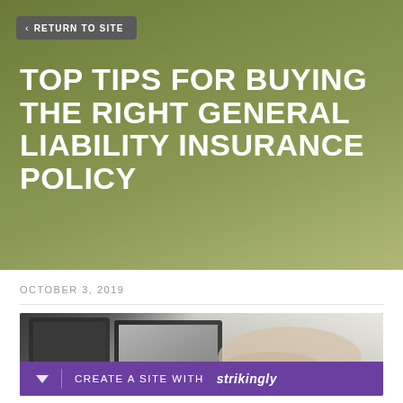< RETURN TO SITE
TOP TIPS FOR BUYING THE RIGHT GENERAL LIABILITY INSURANCE POLICY
OCTOBER 3, 2019
[Figure (photo): Person sitting at a desk with a laptop and tablet, writing with a stylus, viewed from above at an angle. Strikingly website builder banner at the bottom reading 'CREATE A SITE WITH strikingly'.]